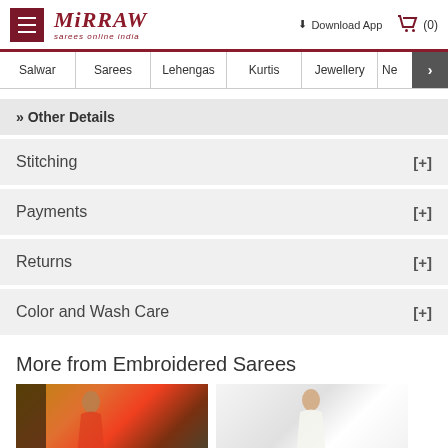Mirraw — sarees online india | Download App | Cart (0) | Navigation: Salwar, Sarees, Lehengas, Kurtis, Jewellery, Ne
» Other Details
Stitching [+]
Payments [+]
Returns [+]
Color and Wash Care [+]
More from Embroidered Sarees
[Figure (photo): Photo of a woman wearing a pink and green embroidered saree, standing in front of columns]
[Figure (photo): Photo of a woman wearing a white embroidered saree]